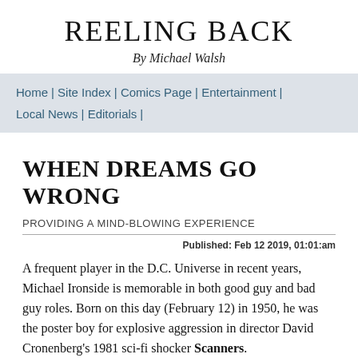REELING BACK
By Michael Walsh
Home | Site Index | Comics Page | Entertainment | Local News | Editorials |
WHEN DREAMS GO WRONG
PROVIDING A MIND-BLOWING EXPERIENCE
Published: Feb 12 2019, 01:01:am
A frequent player in the D.C. Universe in recent years, Michael Ironside is memorable in both good guy and bad guy roles. Born on this day (February 12) in 1950, he was the poster boy for explosive aggression in director David Cronenberg's 1981 sci-fi shocker Scanners.